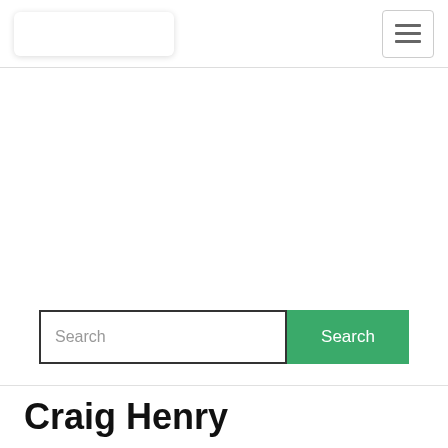[Figure (screenshot): Navigation bar with logo box on left and hamburger menu button on right]
Search
Craig Henry